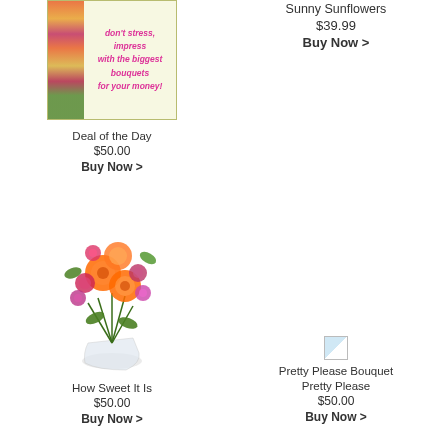[Figure (photo): Advertisement banner with flowers and pink italic text: don't stress, impress with the biggest bouquets for your money!]
Sunny Sunflowers
$39.99
Buy Now >
Deal of the Day
$50.00
Buy Now >
[Figure (photo): Small broken image placeholder for Pretty Please Bouquet]
Pretty Please Bouquet
Pretty Please
$50.00
Buy Now >
[Figure (photo): Photo of How Sweet It Is flower bouquet with orange roses, pink and red flowers in a clear glass vase]
How Sweet It Is
$50.00
Buy Now >